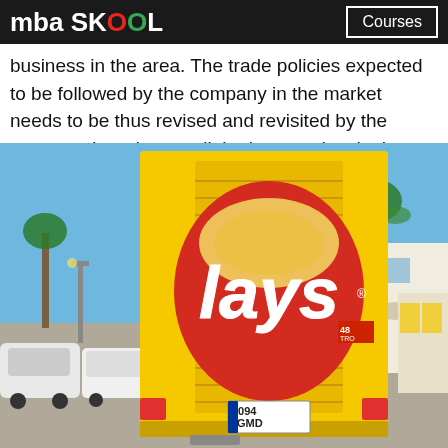mba SKOOL  Courses
business in the area. The trade policies expected to be followed by the company in the market needs to be thus revised and revisited by the company in order to sell the lays product in the market.
[Figure (photo): A yellow Lays delivery truck photographed from behind, showing the large Lays logo on the back door. License plate reads 8094 GMD. The truck is parked in a sunny street with palm trees, parked cars, and buildings visible in the background.]